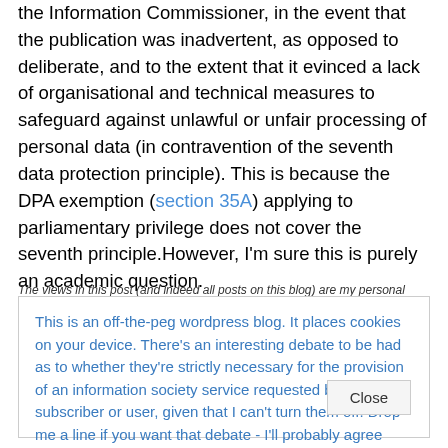the Information Commissioner, in the event that the publication was inadvertent, as opposed to deliberate, and to the extent that it evinced a lack of organisational and technical measures to safeguard against unlawful or unfair processing of personal data (in contravention of the seventh data protection principle). This is because the DPA exemption (section 35A) applying to parliamentary privilege does not cover the seventh principle.However, I'm sure this is purely an academic question.
The views in this post (and indeed all posts on this blog) are my personal ones, and do not
This is an off-the-peg wordpress blog. It places cookies on your device. There's an interesting debate to be had as to whether they're strictly necessary for the provision of an information society service requested by the subscriber or user, given that I can't turn them off. Drop me a line if you want that debate - I'll probably agree with you. Here's the rub